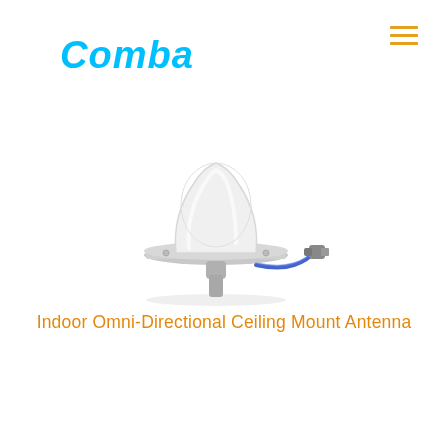Comba
[Figure (photo): Indoor omni-directional ceiling mount antenna product photo: white dome-shaped antenna body on a round metal flange base, with a short blue coaxial cable and SMA connector attached at the side.]
Indoor Omni-Directional Ceiling Mount Antenna